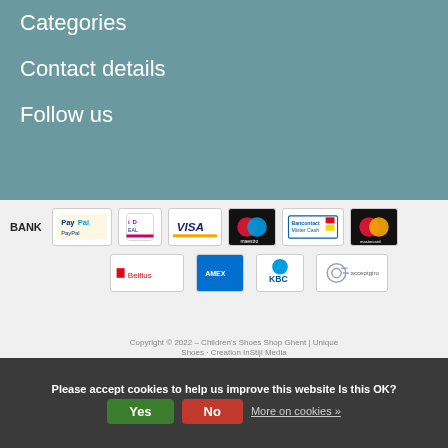Categories
Contact details
Follow us
[Figure (logo): Payment methods: BANK, PayPal, iDEAL, VISA, Maestro, Mister Cash, Mastercard, Belfius, American Express, KBC, acceptgiro]
Copyright © 2022 - Children's Shoes Shop Ghent | Unique Shoes - Creation InStijl Media
Please accept cookies to help us improve this website Is this OK?  Yes  No  More on cookies »
Search | Account | Menu | Wishlist | Cart 0